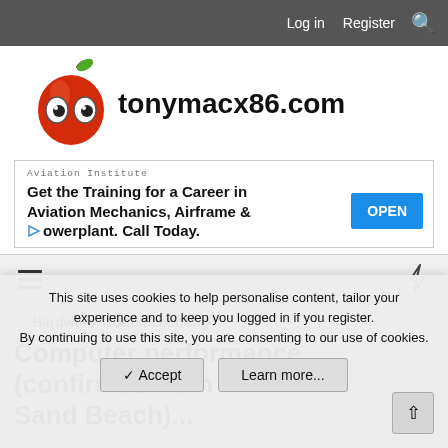Log in   Register
[Figure (logo): tonymacx86.com logo with red apple mascot wearing googly eyes and 'tonymacx86.com' text]
[Figure (infographic): Advertisement banner: Aviation Institute - Get the Training for a Career in Aviation Mechanics, Airframe & Powerplant. Call Today. [OPEN button]]
[Figure (other): Navigation menu bar with hamburger icon on left and lightning bolt icon on right]
Hardware Troubleshooting
Computer performance (confirmed from
This site uses cookies to help personalise content, tailor your experience and to keep you logged in if you register.
By continuing to use this site, you are consenting to our use of cookies.